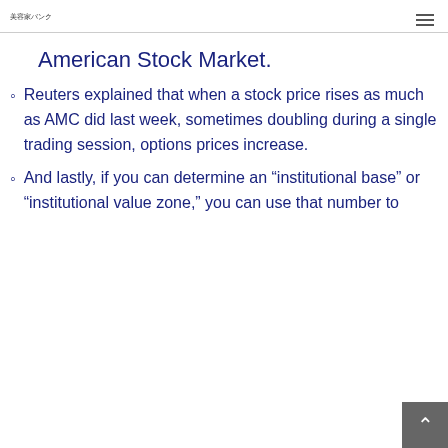美容家バンク
American Stock Market.
Reuters explained that when a stock price rises as much as AMC did last week, sometimes doubling during a single trading session, options prices increase.
And lastly, if you can determine an “institutional base” or “institutional value zone,” you can use that number to